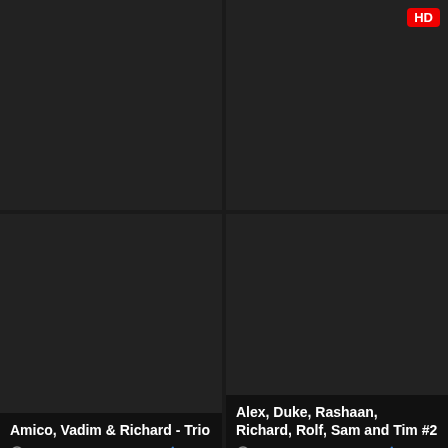[Figure (screenshot): Top-left video thumbnail, partially visible, dark background]
[Figure (screenshot): Top-right video thumbnail, partially visible, dark background]
Amico, Vadim & Richard - Trio
21:10  50%
4 years ago  7.5K
Alex, Duke, Rashaan, Richard, Rolf, Sam and Tim #2
26:20  100%
5 years ago  3.6K
[Figure (screenshot): Middle-left video thumbnail with HD badge, dark background]
[Figure (screenshot): Middle-right video thumbnail with HD badge, dark background]
Sauna Brasil
11:13  25%
5 years ago  6.3K
Milo Fisher & Eric Clark
15:01  100%
4 years ago  4.1K
[Figure (screenshot): Bottom-left video thumbnail with HD badge, partially visible]
[Figure (screenshot): Bottom-right video thumbnail with HD badge, partially visible]